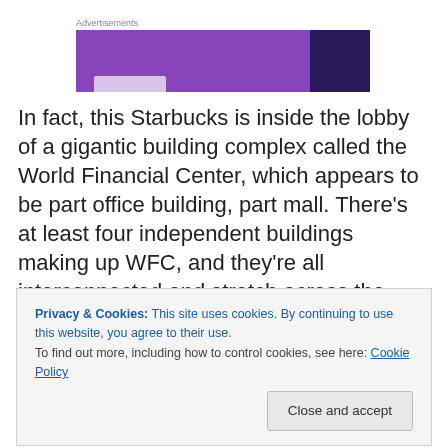[Figure (other): Advertisement banner with purple and dark purple/navy sections]
In fact, this Starbucks is inside the lobby of a gigantic building complex called the World Financial Center, which appears to be part office building, part mall. There's at least four independent buildings making up WFC, and they're all interconnected and stretch across the entire
Privacy & Cookies: This site uses cookies. By continuing to use this website, you agree to their use.
To find out more, including how to control cookies, see here: Cookie Policy
Close and accept
underestimate it. It has its very own entrance, design, and